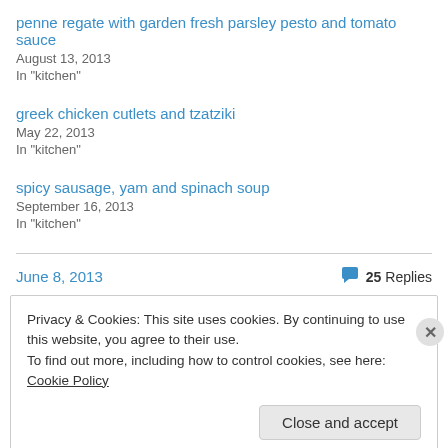penne regate with garden fresh parsley pesto and tomato sauce
August 13, 2013
In "kitchen"
greek chicken cutlets and tzatziki
May 22, 2013
In "kitchen"
spicy sausage, yam and spinach soup
September 16, 2013
In "kitchen"
June 8, 2013    💬 25 Replies
Privacy & Cookies: This site uses cookies. By continuing to use this website, you agree to their use.
To find out more, including how to control cookies, see here: Cookie Policy
Close and accept